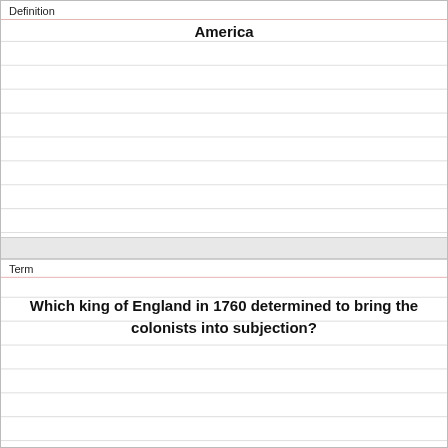Definition
America
Term
Which king of England in 1760 determined to bring the colonists into subjection?